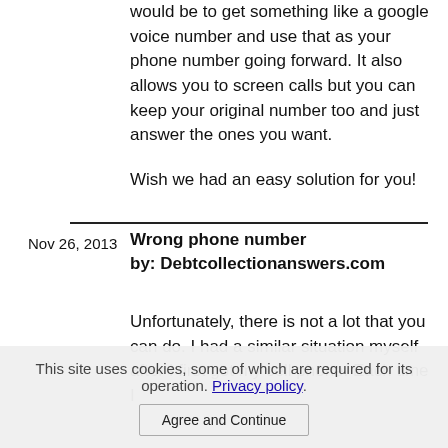would be to get something like a google voice number and use that as your phone number going forward. It also allows you to screen calls but you can keep your original number too and just answer the ones you want.
Wish we had an easy solution for you!
Nov 26, 2013
Wrong phone number by: Debtcollectionanswers.com
Unfortunately, there is not a lot that you can do. I had a similar situation myself after I first got my cell phone. Each time I
This site uses cookies, some of which are required for its operation. Privacy policy. Agree and Continue